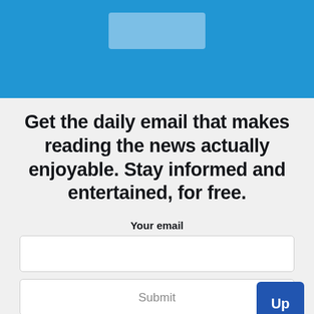[Figure (logo): Blue header banner with a light-colored logo/image box centered in the upper portion]
Get the daily email that makes reading the news actually enjoyable. Stay informed and entertained, for free.
Your email
[email input field]
Submit
Up
Your information is secure and your privacy is protected. By opting in you agree to receive emails from us. Remember that